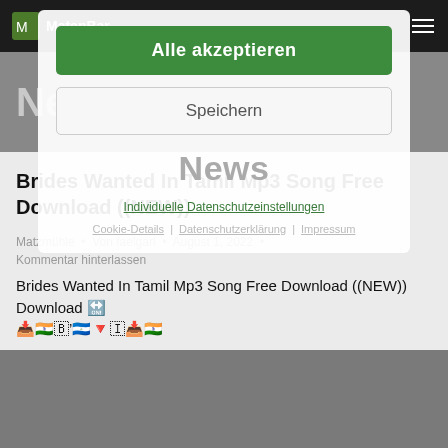MatenBar
[Figure (screenshot): Cookie consent overlay with green 'Alle akzeptieren' button, 'Speichern' button, 'News' heading, and links for Individuelle Datenschutzeinstellungen, Cookie-Details, Datenschutzerklärung, Impressum]
Brides Wanted In Tamil Mp3 Song Free Download ((NEW))
Matzmühle • Von faelgarl • August 1, 2022 • Kommentar hinterlassen
Brides Wanted In Tamil Mp3 Song Free Download ((NEW)) Download 🔛